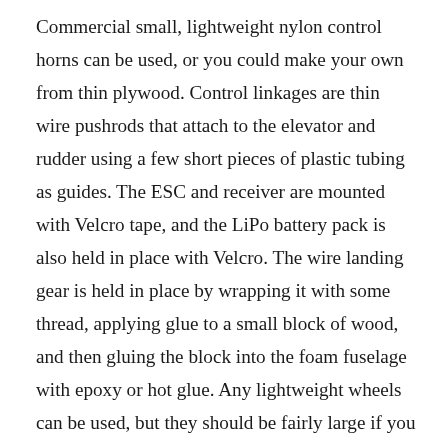Commercial small, lightweight nylon control horns can be used, or you could make your own from thin plywood. Control linkages are thin wire pushrods that attach to the elevator and rudder using a few short pieces of plastic tubing as guides. The ESC and receiver are mounted with Velcro tape, and the LiPo battery pack is also held in place with Velcro. The wire landing gear is held in place by wrapping it with some thread, applying glue to a small block of wood, and then gluing the block into the foam fuselage with epoxy or hot glue. Any lightweight wheels can be used, but they should be fairly large if you want to fly from a grass field. This Eindecker gets off of the ground quickly and easily. If the grass is too high, hand launching is easy. The final finishing could be done a number of ways. Most construction foam for projects such as this is white, and some World War I-style German insignia crosses could be cut from vinyl or low-temperature iron-on material and applied. Bob chose to